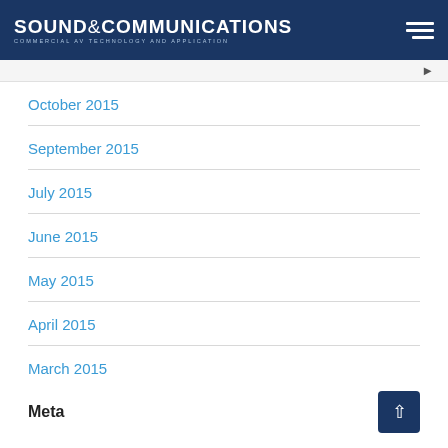SOUND & COMMUNICATIONS — COMMERCIAL AV TECHNOLOGY AND APPLICATION
October 2015
September 2015
July 2015
June 2015
May 2015
April 2015
March 2015
Meta